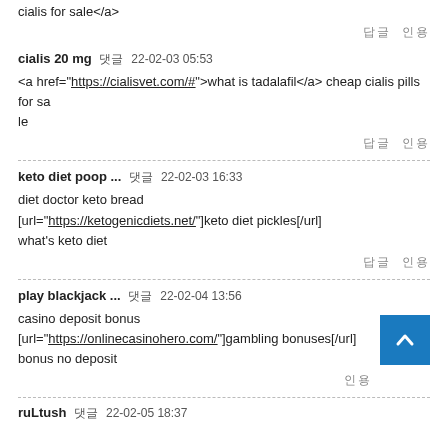cialis for sale</a>
답글  인용
cialis 20 mg 댓글  22-02-03 05:53
<a href="https://cialisvet.com/#">what is tadalafil</a> cheap cialis pills for sale
답글  인용
keto diet poop ... 댓글  22-02-03 16:33
diet doctor keto bread
[url="https://ketogenicdiets.net/"]keto diet pickles[/url]
what's keto diet
답글  인용
play blackjack ... 댓글  22-02-04 13:56
casino deposit bonus
[url="https://onlinecasinohero.com/"]gambling bonuses[/url]
bonus no deposit
인용
ruLtush 댓글  22-02-05 18:37